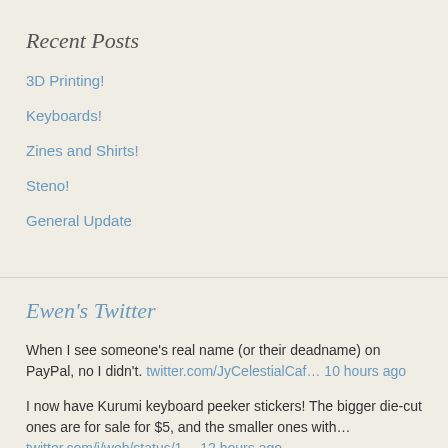Recent Posts
3D Printing!
Keyboards!
Zines and Shirts!
Steno!
General Update
Ewen's Twitter
When I see someone's real name (or their deadname) on PayPal, no I didn't. twitter.com/JyCelestialCaf… 10 hours ago
I now have Kurumi keyboard peeker stickers! The bigger die-cut ones are for sale for $5, and the smaller ones with… twitter.com/i/web/status/1… 12 hours ago
More progress on art for Podcast From Another World, with the